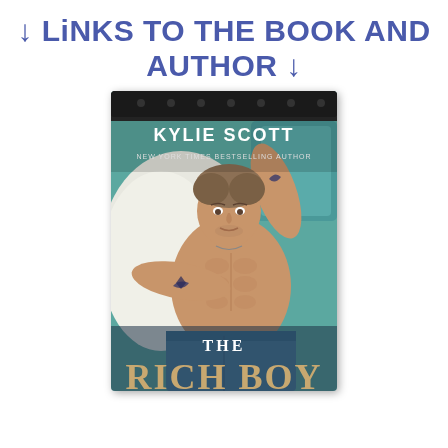↓ LiNKS TO THE BOOK AND AUTHOR ↓
[Figure (illustration): Book cover of 'The Rich Boy' by Kylie Scott, New York Times Bestselling Author. Shows a shirtless muscular young man with tattoos lying on a bed with teal/white bedding, arms raised behind his head. Title 'THE RICH BOY' appears at the bottom of the cover.]